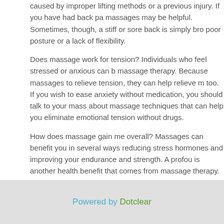caused by improper lifting methods or a previous injury. If you have had back pain, massages may be helpful. Sometimes, though, a stiff or sore back is simply brought on by poor posture or a lack of flexibility.
Does massage work for tension? Individuals who feel stressed or anxious can benefit from massage therapy. Because massages to relieve tension, they can help relieve mental tension too. If you wish to ease anxiety without medication, you should talk to your masseuse about massage techniques that can help you eliminate emotional tension without drugs.
How does massage gain me overall? Massages can benefit you in several ways, including reducing stress hormones and improving your endurance and strength. A profound relaxation is another health benefit that comes from massage therapy. A deep relaxation can improve your immune system and provide you more energy to face daily.
They posted on the same topic
Trackback URL : https://edgerplace3.bravejournal.net/trackback/7107074
This post's comments feed
Powered by Dotclear